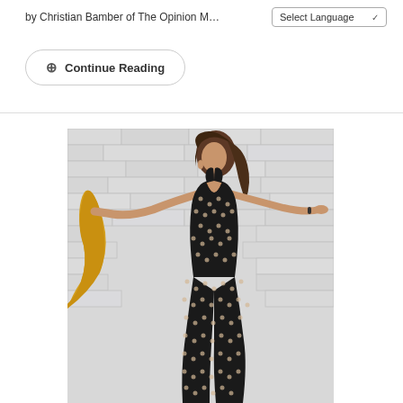by Christian Bamber of The Opinion M...
Select Language
Continue Reading
[Figure (photo): A young woman with dark wavy hair wearing a black polka-dot deep-V jumpsuit, arms outstretched, posing against a white brick wall, holding a yellow garment in her left hand.]